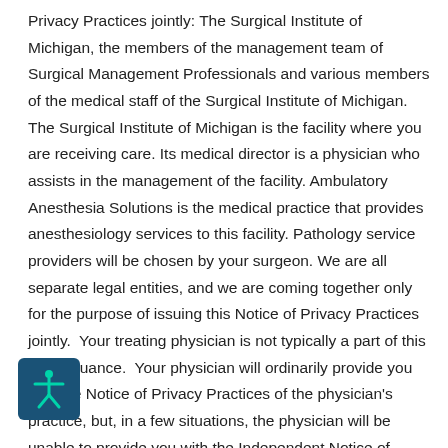Privacy Practices jointly: The Surgical Institute of Michigan, the members of the management team of Surgical Management Professionals and various members of the medical staff of the Surgical Institute of Michigan. The Surgical Institute of Michigan is the facility where you are receiving care. Its medical director is a physician who assists in the management of the facility. Ambulatory Anesthesia Solutions is the medical practice that provides anesthesiology services to this facility. Pathology service providers will be chosen by your surgeon. We are all separate legal entities, and we are coming together only for the purpose of issuing this Notice of Privacy Practices jointly. Your treating physician is not typically a part of this joint issuance. Your physician will ordinarily provide you with the Notice of Privacy Practices of the physician's practice, but, in a few situations, the physician will be unable to provide you with the Independent Notice of Primary Practices and will operate
[Figure (other): Accessibility icon — white figure with arms outstretched on dark teal/navy background, rounded rectangle]